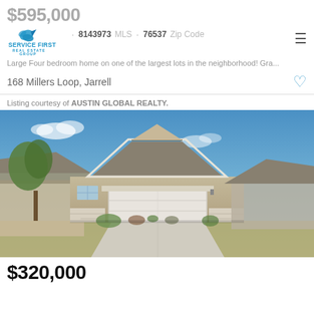$595,000
4 Beds  3 Baths  ·  8143973 MLS  ·  76537 Zip Code
[Figure (logo): Service First Real Estate Group logo with blue bird icon]
Large Four bedroom home on one of the largest lots in the neighborhood! Gra...
168 Millers Loop, Jarrell
Listing courtesy of AUSTIN GLOBAL REALTY.
[Figure (photo): Exterior photo of a single-story house with beige stucco and stone veneer, large two-car garage door, peaked roof, blue sky background, driveway in front]
$320,000